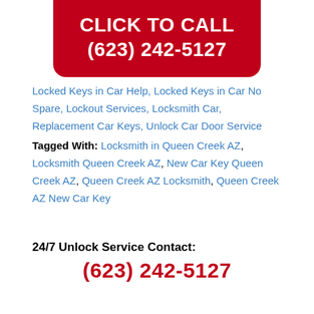[Figure (other): Red rounded banner with white bold text: CLICK TO CALL (623) 242-5127]
Locked Keys in Car Help, Locked Keys in Car No Spare, Lockout Services, Locksmith Car, Replacement Car Keys, Unlock Car Door Service
Tagged With: Locksmith in Queen Creek AZ, Locksmith Queen Creek AZ, New Car Key Queen Creek AZ, Queen Creek AZ Locksmith, Queen Creek AZ New Car Key
24/7 Unlock Service Contact:
(623) 242-5127
Garage Repair Partners